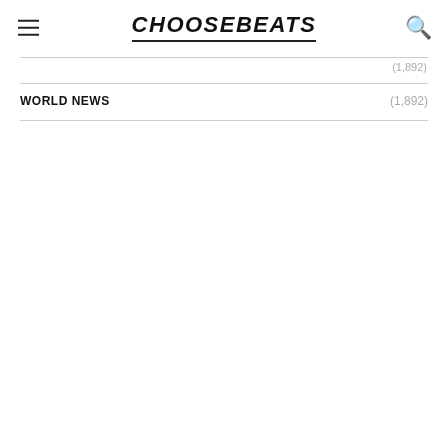CHOOSEBEATS
(1,892)
WORLD NEWS (1,892)